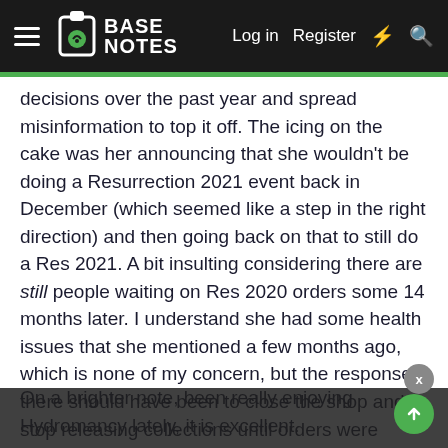Base Notes — Log in  Register
decisions over the past year and spread misinformation to top it off. The icing on the cake was her announcing that she wouldn't be doing a Resurrection 2021 event back in December (which seemed like a step in the right direction) and then going back on that to still do a Res 2021. A bit insulting considering there are still people waiting on Res 2020 orders some 14 months later. I understand she had some health issues that she mentioned a few months ago, which is none of my concern, but the response there should have been to close the shop and stop releasing collections until orders were caught up.
On a brighter note, been really enjoying Hydromancy lately, it is excellent.